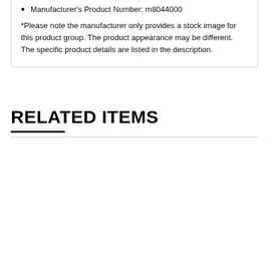Manufacturer's Product Number: m8044000
*Please note the manufacturer only provides a stock image for this product group. The product appearance may be different. The specific product details are listed in the description.
RELATED ITEMS